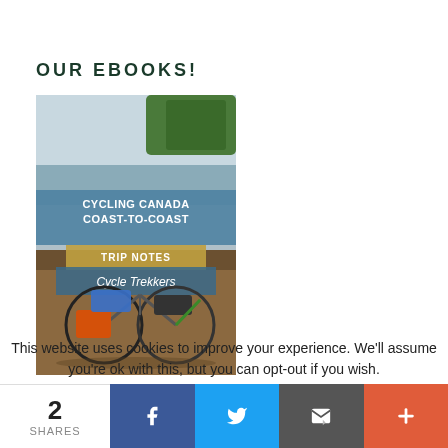OUR EBOOKS!
[Figure (photo): Book cover for 'Cycling Canada Coast-to-Coast Trip Notes' by Cycle Trekkers showing two touring bicycles with panniers parked on a sandy area near water]
This website uses cookies to improve your experience. We'll assume you're ok with this, but you can opt-out if you wish.
2 SHARES
[Figure (infographic): Social share bar with Facebook, Twitter, Email, and More buttons showing 2 shares]